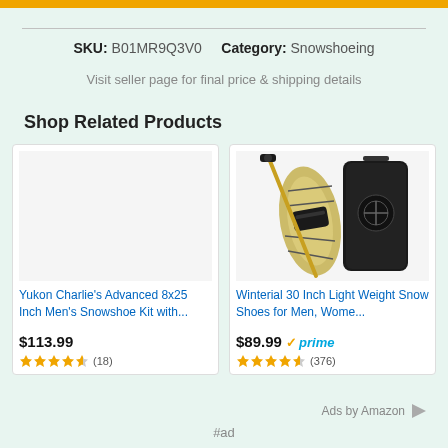SKU: B01MR9Q3V0   Category: Snowshoeing
Visit seller page for final price & shipping details
Shop Related Products
[Figure (photo): Yukon Charlie's Advanced 8x25 Inch Men's Snowshoe Kit - product placeholder image]
Yukon Charlie's Advanced 8x25 Inch Men's Snowshoe Kit with...
$113.99
★★★★½ (18)
[Figure (photo): Winterial 30 Inch Light Weight Snow Shoes for Men and Women - snowshoes with poles and carrying bag]
Winterial 30 Inch Light Weight Snow Shoes for Men, Wome...
$89.99 prime
★★★★½ (376)
Ads by Amazon
#ad